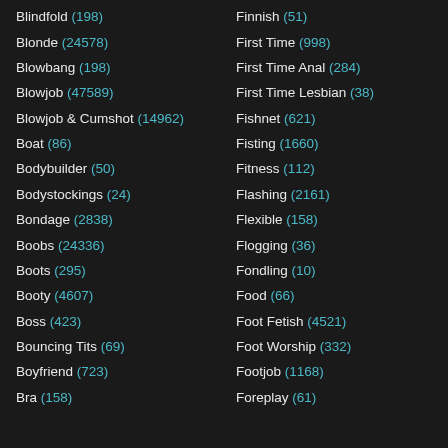Blindfold (198)
Blonde (24578)
Blowbang (198)
Blowjob (47589)
Blowjob & Cumshot (14962)
Boat (86)
Bodybuilder (50)
Bodystockings (24)
Bondage (2838)
Boobs (24336)
Boots (295)
Booty (4607)
Boss (423)
Bouncing Tits (69)
Boyfriend (723)
Bra (158)
Finnish (51)
First Time (998)
First Time Anal (284)
First Time Lesbian (38)
Fishnet (621)
Fisting (1660)
Fitness (112)
Flashing (2161)
Flexible (158)
Flogging (36)
Fondling (10)
Food (66)
Foot Fetish (4521)
Foot Worship (332)
Footjob (1168)
Foreplay (61)